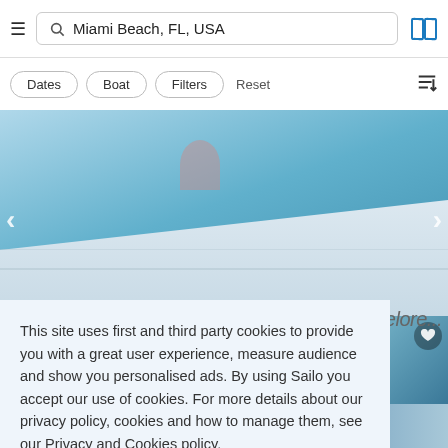[Figure (screenshot): Mobile app navigation bar with hamburger menu, search box showing 'Miami Beach, FL, USA', and map icon]
[Figure (screenshot): Filter bar with Dates, Boat, Filters buttons and Reset link, sort icon on right]
[Figure (photo): Boat deck photo with blue ocean water background, navigation arrows on left and right]
This site uses first and third party cookies to provide you with a great user experience, measure audience and show you personalised ads. By using Sailo you accept our use of cookies. For more details about our privacy policy, cookies and how to manage them, see our Privacy and Cookies policy.
Learn more
Got it!